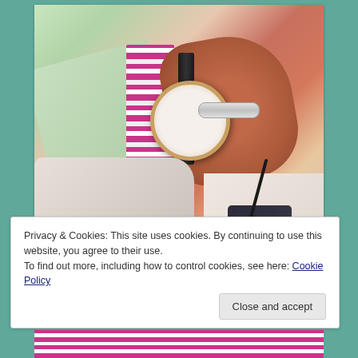[Figure (photo): Close-up photo of a person's wrist wearing a Daniel Wellington minimalist watch with a dark leather strap and a silver Cartier Love bracelet. The person is wearing a light green dress shirt with a pink and white striped tie or fabric. Additional clothing items are visible in the background, including dark fabric and striped material.]
Privacy & Cookies: This site uses cookies. By continuing to use this website, you agree to their use.
To find out more, including how to control cookies, see here: Cookie Policy
Close and accept